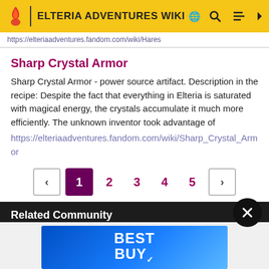ELTERIA ADVENTURES WIKI
https://elteriaadventures.fandom.com/wiki/Hares
Sharp Crystal Armor
Sharp Crystal Armor - power source artifact. Description in the recipe: Despite the fact that everything in Elteria is saturated with magical energy, the crystals accumulate it much more efficiently. The unknown inventor took advantage of
https://elteriaadventures.fandom.com/wiki/Sharp_Crystal_Armor
< 1 2 3 4 5 >
Related Community
[Figure (screenshot): Best Buy advertisement banner with blue gradient background and white BEST BUY text]